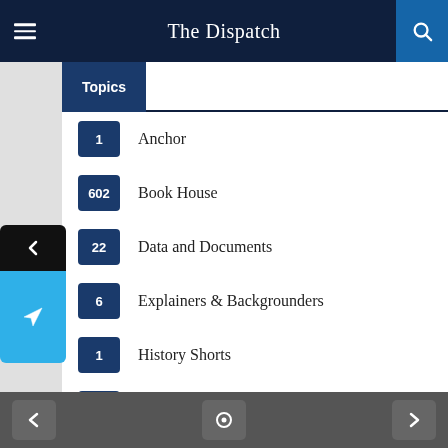The Dispatch
Topics
1  Anchor
602  Book House
22  Data and Documents
6  Explainers & Backgrounders
1  History Shorts
44  Jammu & Kashmir
9  Jammu and Kashmir: An Overview
2  Lists and Timelines
914  Opinion